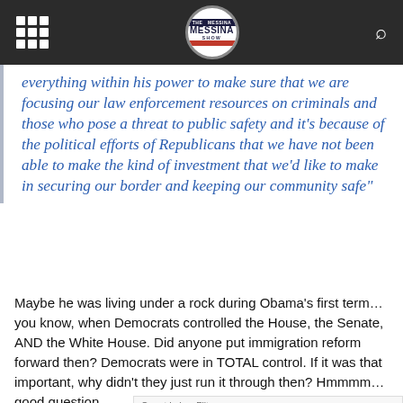Messina Show
everything within his power to make sure that we are focusing our law enforcement resources on criminals and those who pose a threat to public safety and it’s because of the political efforts of Republicans that we have not been able to make the kind of investment that we’d like to make in securing our border and keeping our community safe”
Maybe he was living under a rock during Obama’s first term… you know, when Democrats controlled the House, the Senate, AND the White House. Did anyone put immigration reform forward then? Democrats were in TOTAL control. If it was that important, why didn’t they just run it through then? Hmmmm… good question.
As if that [social icons] ique & Specific Requirements. n his